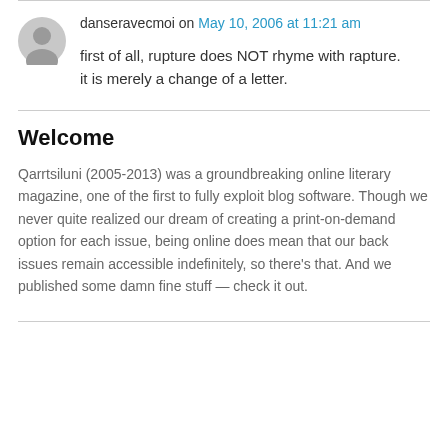danseravecmoi on May 10, 2006 at 11:21 am
first of all, rupture does NOT rhyme with rapture. it is merely a change of a letter.
Welcome
Qarrtsiluni (2005-2013) was a groundbreaking online literary magazine, one of the first to fully exploit blog software. Though we never quite realized our dream of creating a print-on-demand option for each issue, being online does mean that our back issues remain accessible indefinitely, so there’s that. And we published some damn fine stuff — check it out.